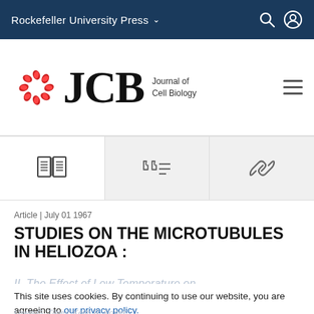Rockefeller University Press
[Figure (logo): JCB Journal of Cell Biology logo with red circular icon and large JCB letters]
[Figure (infographic): Toolbar with book icon, citations icon, and link icon]
Article | July 01 1967
STUDIES ON THE MICROTUBULES IN HELIOZOA :
II. The Effect of Low Temperature on These Structures in the Formation and Maintenance of the Axopodia
This site uses cookies. By continuing to use our website, you are agreeing to our privacy policy. Accept
Lewis G. Tilney, Keith R. Porter